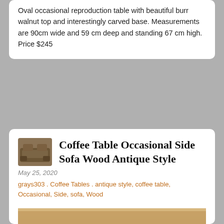Oval occasional reproduction table with beautiful burr walnut top and interestingly carved base. Measurements are 90cm wide and 59 cm deep and standing 67 cm high. Price $245
Coffee Table Occasional Side Sofa Wood Antique Style
May 25, 2020
grays303 . Coffee Tables . antique style, coffee table, Occasional, Side, sofa, Wood
[Figure (photo): Close-up photo of a wooden coffee table surface showing the edge and carved base detail in warm brown tones]